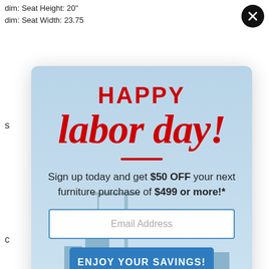dim: Seat Height: 20"
dim: Seat Width: 23.75
[Figure (screenshot): Happy Labor Day promotional popup modal with city skyline background, red 'HAPPY' header and cursive 'labor day!' text, email signup form, and blue 'ENJOY YOUR SAVINGS!' button]
HAPPY
labor day!
Sign up today and get $50 OFF your next furniture purchase of $499 or more!*
Email Address
ENJOY YOUR SAVINGS!
NO THANKS